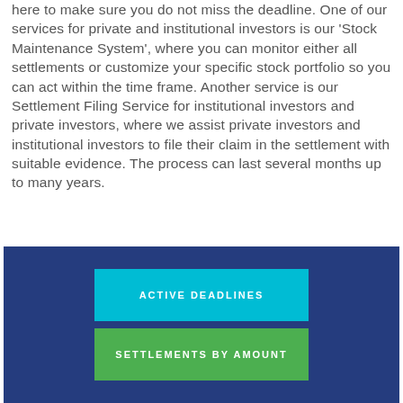here to make sure you do not miss the deadline. One of our services for private and institutional investors is our 'Stock Maintenance System', where you can monitor either all settlements or customize your specific stock portfolio so you can act within the time frame. Another service is our Settlement Filing Service for institutional investors and private investors, where we assist private investors and institutional investors to file their claim in the settlement with suitable evidence. The process can last several months up to many years.
[Figure (infographic): Dark blue box containing two button-style rectangles: a cyan/teal button labeled 'ACTIVE DEADLINES' and a green button labeled 'SETTLEMENTS BY AMOUNT']